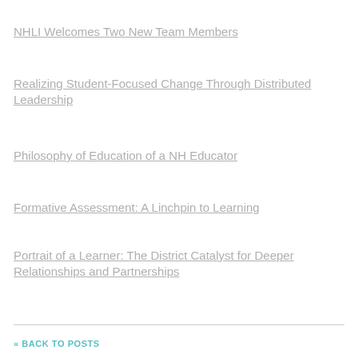NHLI Welcomes Two New Team Members
Realizing Student-Focused Change Through Distributed Leadership
Philosophy of Education of a NH Educator
Formative Assessment: A Linchpin to Learning
Portrait of a Learner: The District Catalyst for Deeper Relationships and Partnerships
« BACK TO POSTS